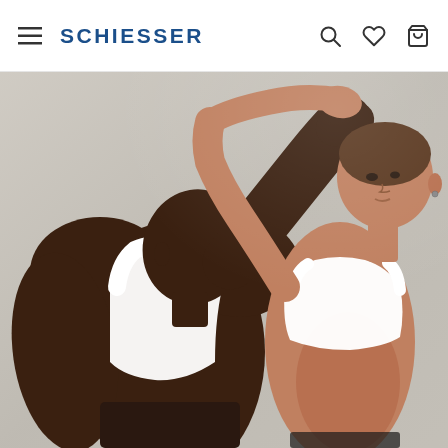SCHIESSER
[Figure (photo): Fashion/underwear brand photo showing two models — one male and one female — embracing. The male model wears a white tank top and has dark skin. The female model wears a white sports bra and has a shaved head. Both are posed against a light grey concrete background. The photo is a promotional image for Schiesser underwear brand.]